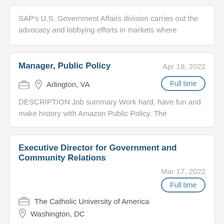SAP's U.S. Government Affairs division carries out the advocacy and lobbying efforts in markets where
Manager, Public Policy
Apr 18, 2022
Arlington, VA
Full time
DESCRIPTION Job summary Work hard, have fun and make history with Amazon Public Policy. The
Executive Director for Government and Community Relations
Mar 17, 2022
Full time
The Catholic University of America
Washington, DC